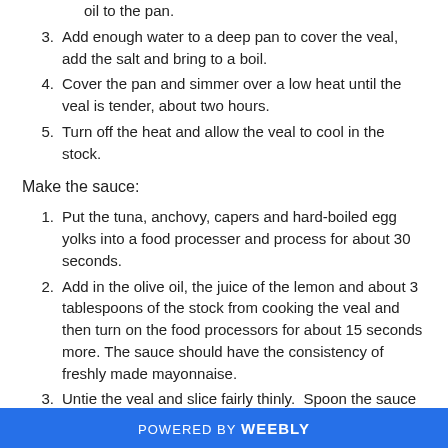oil to the pan.
3. Add enough water to a deep pan to cover the veal, add the salt and bring to a boil.
4. Cover the pan and simmer over a low heat until the veal is tender, about two hours.
5. Turn off the heat and allow the veal to cool in the stock.
Make the sauce:
1. Put the tuna, anchovy, capers and hard-boiled egg yolks into a food processer and process for about 30 seconds.
2. Add in the olive oil, the juice of the lemon and about 3 tablespoons of the stock from cooking the veal and then turn on the food processors for about 15 seconds more. The sauce should have the consistency of freshly made mayonnaise.
3. Untie the veal and slice fairly thinly.  Spoon the sauce over the veal.  Garnish with the remaining capers.  Refrigerate
POWERED BY weebly